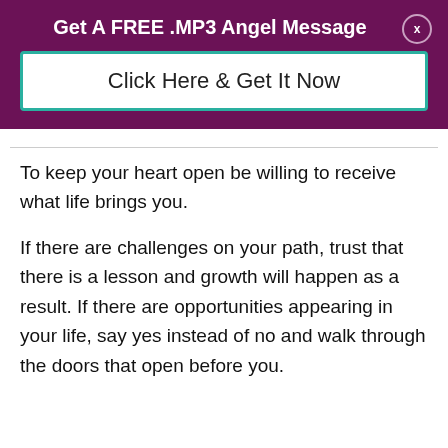Get A FREE .MP3 Angel Message
Click Here & Get It Now
To keep your heart open be willing to receive what life brings you.
If there are challenges on your path, trust that there is a lesson and growth will happen as a result. If there are opportunities appearing in your life, say yes instead of no and walk through the doors that open before you.